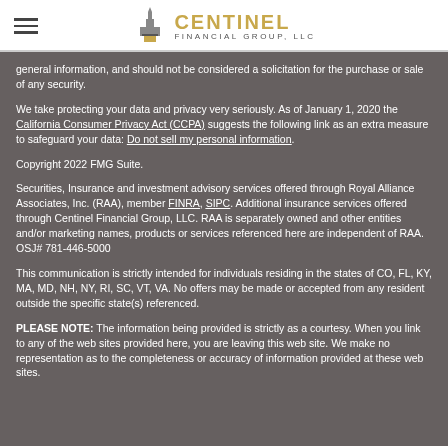Centinel Financial Group, LLC
general information, and should not be considered a solicitation for the purchase or sale of any security.
We take protecting your data and privacy very seriously. As of January 1, 2020 the California Consumer Privacy Act (CCPA) suggests the following link as an extra measure to safeguard your data: Do not sell my personal information.
Copyright 2022 FMG Suite.
Securities, Insurance and investment advisory services offered through Royal Alliance Associates, Inc. (RAA), member FINRA, SIPC. Additional insurance services offered through Centinel Financial Group, LLC. RAA is separately owned and other entities and/or marketing names, products or services referenced here are independent of RAA. OSJ# 781-446-5000
This communication is strictly intended for individuals residing in the states of CO, FL, KY, MA, MD, NH, NY, RI, SC, VT, VA. No offers may be made or accepted from any resident outside the specific state(s) referenced.
PLEASE NOTE: The information being provided is strictly as a courtesy. When you link to any of the web sites provided here, you are leaving this web site. We make no representation as to the completeness or accuracy of information provided at these web sites.